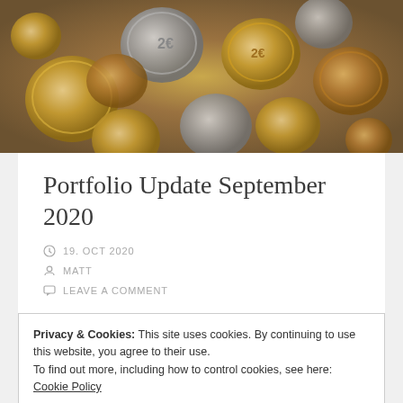[Figure (photo): Close-up photo of a pile of Euro coins, gold and silver colored, stacked and scattered.]
Portfolio Update September 2020
19. OCT 2020
MATT
LEAVE A COMMENT
Privacy & Cookies: This site uses cookies. By continuing to use this website, you agree to their use.
To find out more, including how to control cookies, see here: Cookie Policy
Close and accept
month I am fed up with Mintos. As long as nothing